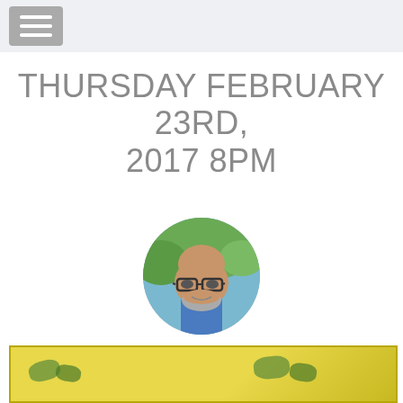THURSDAY FEBRUARY 23RD, 2017 8PM
[Figure (photo): Circular profile photo of Keith Moore, a middle-aged bald man with glasses and a gray beard, wearing a blue shirt, photographed outdoors.]
KEITH MOORE
BOMBORA - HOW TO HOLD DOWN YOUR VEGEMITE IN A NONSTOP SEA OF WAVES
[Figure (screenshot): Partial view of a presentation slide with a yellow background, visible at the bottom of the page.]